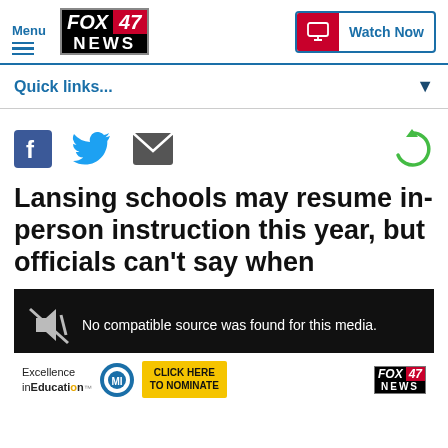Menu / FOX 47 NEWS / Watch Now
Quick links...
[Figure (infographic): Social sharing icons: Facebook, Twitter, Email (left), and a green refresh/share icon (right)]
Lansing schools may resume in-person instruction this year, but officials can't say when
[Figure (screenshot): Video player with black background showing 'No compatible source was found for this media.' with an ad bar at the bottom featuring Excellence in Education, Michigan Lottery logo, CLICK HERE TO NOMINATE button, and FOX 47 NEWS logo]